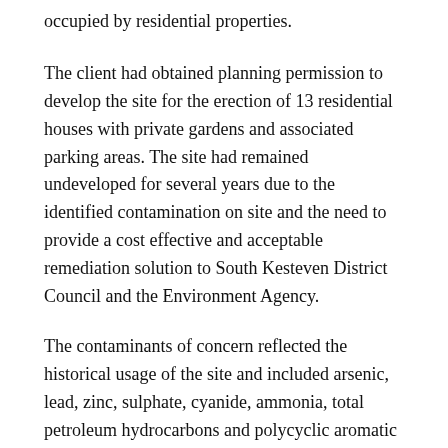occupied by residential properties.
The client had obtained planning permission to develop the site for the erection of 13 residential houses with private gardens and associated parking areas. The site had remained undeveloped for several years due to the identified contamination on site and the need to provide a cost effective and acceptable remediation solution to South Kesteven District Council and the Environment Agency.
The contaminants of concern reflected the historical usage of the site and included arsenic, lead, zinc, sulphate, cyanide, ammonia, total petroleum hydrocarbons and polycyclic aromatic hydrocarbons. Site investigations had shown that soil contamination was essentially concentrated in the western area of the site adjoining the South Kesteven District Council Car Park (associated with the former Gas Purifier), in a localised area in the northern section of the site and within the large [continues]